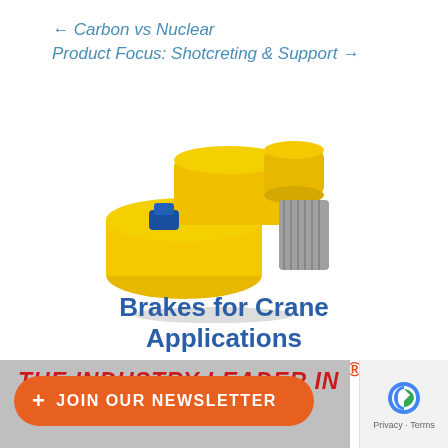← Carbon vs Nuclear
Product Focus: Shotcreting & Support →
[Figure (photo): Yellow industrial brake unit for crane applications, photographed on white background]
Brakes for Crane Applications
RINGSPANN®
www.ringspann.com.au
[Figure (photo): Partial view of a banner reading 'THE INDUSTRY LEADER IN ...SSORIES']
+ JOIN OUR NEWSLETTER
Privacy · Terms